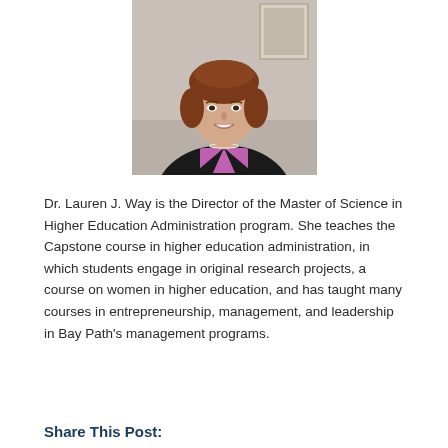[Figure (photo): Headshot portrait of Dr. Lauren J. Way, a woman with brown hair wearing a black blazer and purple top, smiling at the camera.]
Dr. Lauren J. Way is the Director of the Master of Science in Higher Education Administration program. She teaches the Capstone course in higher education administration, in which students engage in original research projects, a course on women in higher education, and has taught many courses in entrepreneurship, management, and leadership in Bay Path’s management programs.
Share This Post: